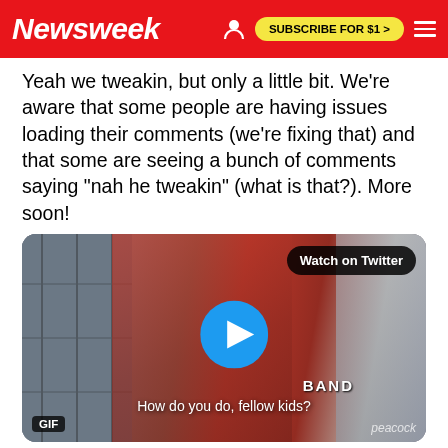Newsweek | SUBSCRIBE FOR $1 >
Yeah we tweakin, but only a little bit. We're aware that some people are having issues loading their comments (we're fixing that) and that some are seeing a bunch of comments saying "nah he tweakin" (what is that?). More soon!
[Figure (screenshot): Embedded Twitter video/GIF showing a movie still with the caption 'How do you do, fellow kids?' with a play button overlay and 'Watch on Twitter' button. GIF and peacock watermarks visible.]
1:40 AM · Aug 26, 2021